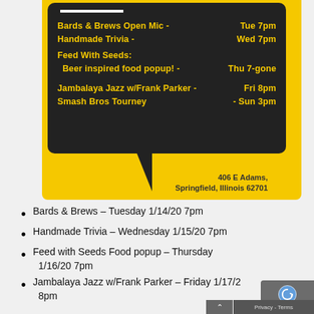[Figure (infographic): Yellow background box with dark speech bubble containing event listings in yellow text, with address below]
Bards & Brews – Tuesday 1/14/20 7pm
Handmade Trivia – Wednesday 1/15/20 7pm
Feed with Seeds Food popup – Thursday 1/16/20 7pm
Jambalaya Jazz w/Frank Parker – Friday 1/17/2 8pm